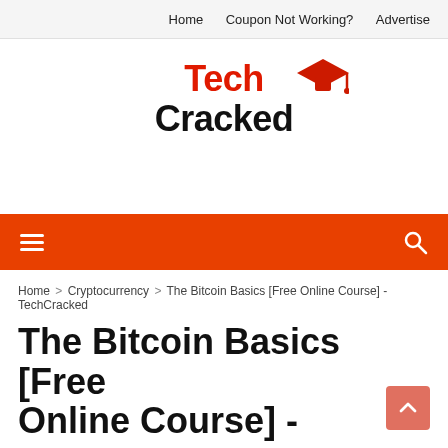Home   Coupon Not Working?   Advertise
[Figure (logo): TechCracked logo with red 'Tech' text and black 'Cracked' text, with a red graduation cap icon to the right]
≡  🔍
Home > Cryptocurrency > The Bitcoin Basics [Free Online Course] - TechCracked
The Bitcoin Basics [Free Online Course] -